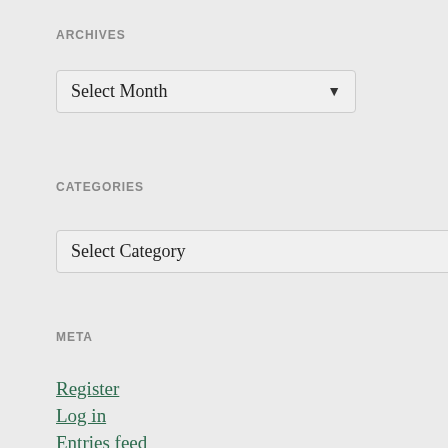ARCHIVES
Select Month
CATEGORIES
Select Category
META
Register
Log in
Entries feed
Comments feed
WordPress.com